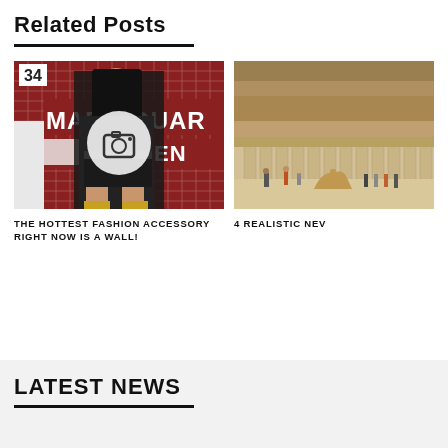Related Posts
[Figure (photo): Woman posing in front of Madison Square Garden tiled subway sign, wearing black jacket and shorts]
THE HOTTEST FASHION ACCESSORY RIGHT NOW IS A WALL!
[Figure (photo): Ancient Egyptian temple with people and a camel in the foreground]
4 REALISTIC NEW
LATEST NEWS